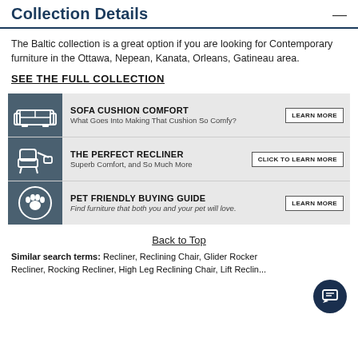Collection Details
The Baltic collection is a great option if you are looking for Contemporary furniture in the Ottawa, Nepean, Kanata, Orleans, Gatineau area.
SEE THE FULL COLLECTION
[Figure (infographic): Banner with three rows: 1) Sofa Cushion Comfort with sofa icon, 'What Goes Into Making That Cushion So Comfy?' and LEARN MORE button; 2) The Perfect Recliner with recliner icon, 'Superb Comfort, and So Much More' and CLICK TO LEARN MORE button; 3) Pet Friendly Buying Guide with paw print icon, 'Find furniture that both you and your pet will love.' and LEARN MORE button.]
Back to Top
Similar search terms: Recliner, Reclining Chair, Glider Rocker Recliner, Rocking Recliner, High Leg Reclining Chair, Lift Reclin...